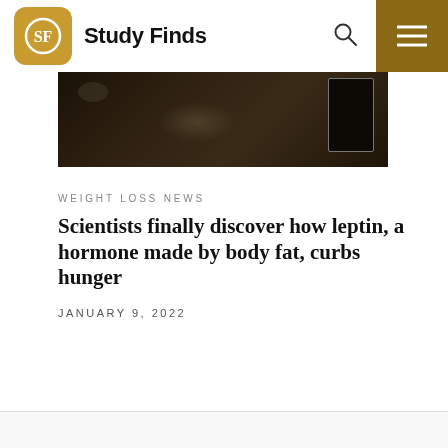Study Finds
[Figure (photo): Dark background hero image showing what appears to be a dimly lit scene with a tablet or device on the right side]
WEIGHT LOSS NEWS
Scientists finally discover how leptin, a hormone made by body fat, curbs hunger
JANUARY 9, 2022